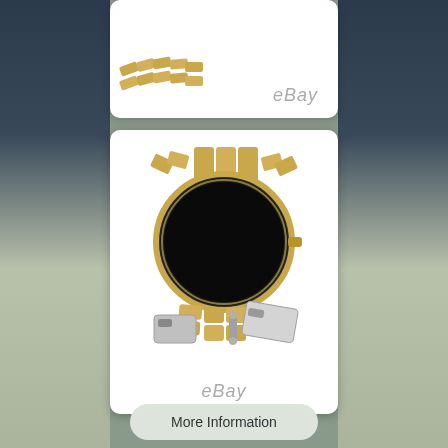[Figure (photo): Top partial product card showing a gold watch thumbnail with eBay watermark]
[Figure (photo): Main product card showing the back of a gold-tone bracelet watch with silver clasp, with eBay watermark at bottom]
More Information